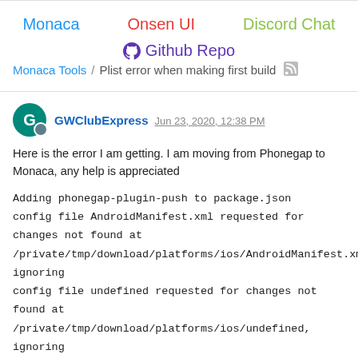Monaca | Onsen UI | Discord Chat | Github Repo
Monaca Tools / Plist error when making first build
GWClubExpress Jun 23, 2020, 12:38 PM

Here is the error I am getting. I am moving from Phonegap to Monaca, any help is appreciated

Adding phonegap-plugin-push to package.json
config file AndroidManifest.xml requested for changes not found at /private/tmp/download/platforms/ios/AndroidManifest.xml, ignoring
config file undefined requested for changes not found at /private/tmp/download/platforms/ios/undefined, ignoring
config file undefined requested for changes not found at /private/tmp/download/platforms/ios/undefined, ignoring
config file undefined requested for changes not found at...